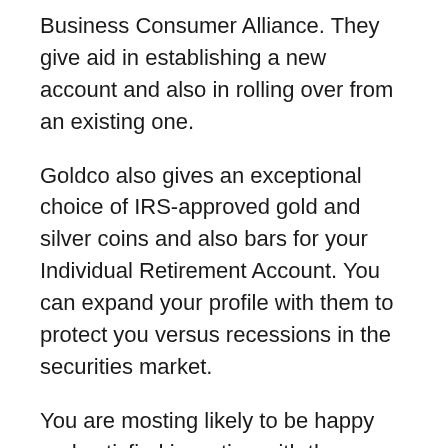Business Consumer Alliance. They give aid in establishing a new account and also in rolling over from an existing one.
Goldco also gives an exceptional choice of IRS-approved gold and silver coins and also bars for your Individual Retirement Account. You can expand your profile with them to protect you versus recessions in the securities market.
You are mosting likely to be happy and satisfied investing with them. Take a look at their web site now to obtain a complimentary Self-Directed Individual Retirement Account guide or sign up to begin today.